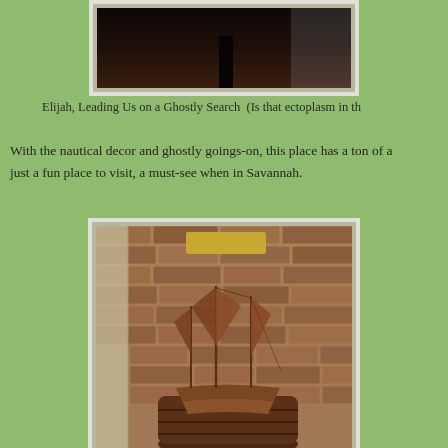[Figure (photo): Photo of Elijah leading a ghostly search, dark hallway with figure silhouette]
Elijah, Leading Us on a Ghostly Search  (Is that ectoplasm in th
With the nautical decor and ghostly goings-on, this place has a ton of a just a fun place to visit, a must-see when in Savannah.
[Figure (photo): Wooden ship model (tall ship/galleon) displayed on a barrel against a brick wall interior]